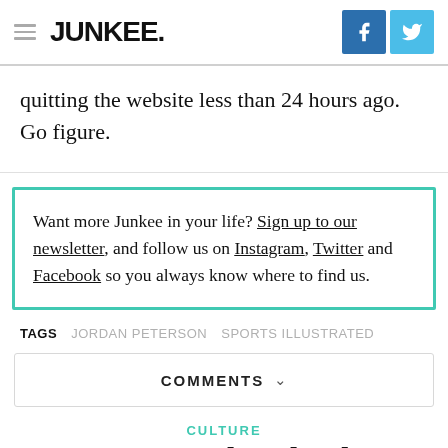JUNKEE.
quitting the website less than 24 hours ago. Go figure.
Want more Junkee in your life? Sign up to our newsletter, and follow us on Instagram, Twitter and Facebook so you always know where to find us.
TAGS   JORDAN PETERSON   SPORTS ILLUSTRATED
COMMENTS
CULTURE